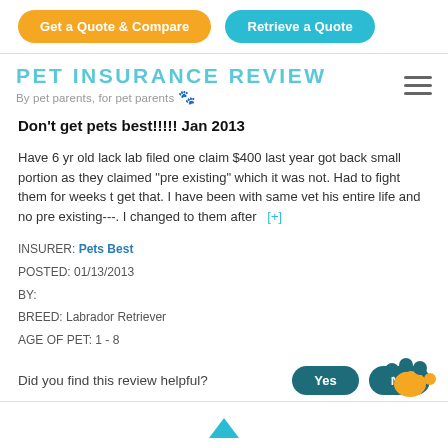Get a Quote & Compare | Retrieve a Quote
PET INSURANCE REVIEW
By pet parents, for pet parents 🐾
Don't get pets best!!!!! Jan 2013
Have 6 yr old lack lab filed one claim $400 last year got back small portion as they claimed "pre existing" which it was not. Had to fight them for weeks t get that. I have been with same vet his entire life and no pre existing---. I changed to them after  [+]
INSURER: Pets Best
POSTED: 01/13/2013
BY:
BREED: Labrador Retriever
AGE OF PET: 1 - 8
Did you find this review helpful?